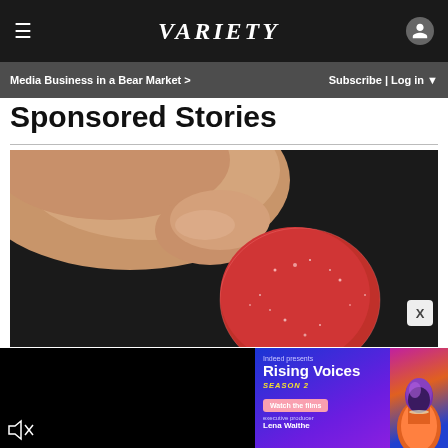VARIETY — Media Business in a Bear Market > | Subscribe | Log in
Sponsored Stories
[Figure (photo): Close-up photo of fingers holding a red sugar-coated gummy candy against a dark background]
[Figure (photo): Video player showing dark/black frame with mute icon (speaker with X) at bottom left]
[Figure (advertisement): Indeed presents Rising Voices Season 2 advertisement with colorful portrait of person and 'Watch the films' button, executive producer Lena Waithe]